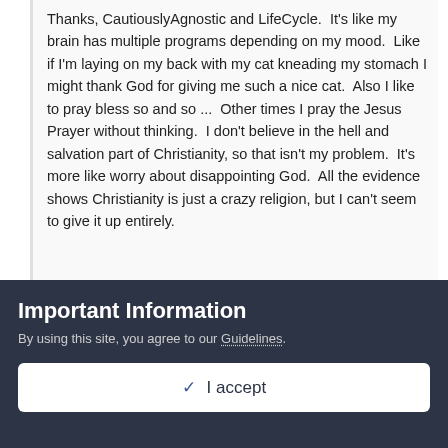Thanks, CautiouslyAgnostic and LifeCycle.  It's like my brain has multiple programs depending on my mood.  Like if I'm laying on my back with my cat kneading my stomach I might thank God for giving me such a nice cat.  Also I like to pray bless so and so ...  Other times I pray the Jesus Prayer without thinking.  I don't believe in the hell and salvation part of Christianity, so that isn't my problem.  It's more like worry about disappointing God.  All the evidence shows Christianity is just a crazy religion, but I can't seem to give it up entirely.
Well, those are behaviors you just need to make a conscience effort to break.  I mean, if they bother you that is.  I had to remind myself to not pray each night before bed.  Sometimes I
Important Information
By using this site, you agree to our Guidelines.
✓  I accept